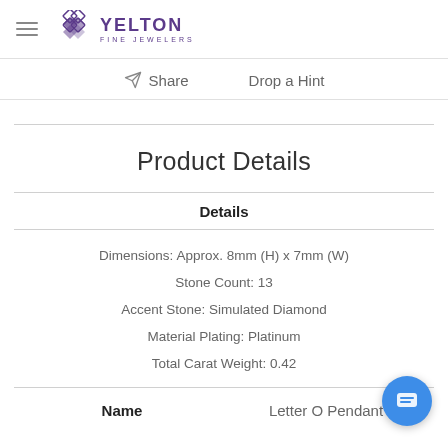Yelton Fine Jewelers
Share   Drop a Hint
Product Details
Details
Dimensions: Approx. 8mm (H) x 7mm (W)
Stone Count: 13
Accent Stone: Simulated Diamond
Material Plating: Platinum
Total Carat Weight: 0.42
| Name |  |
| --- | --- |
| Name | Letter O Pendant |